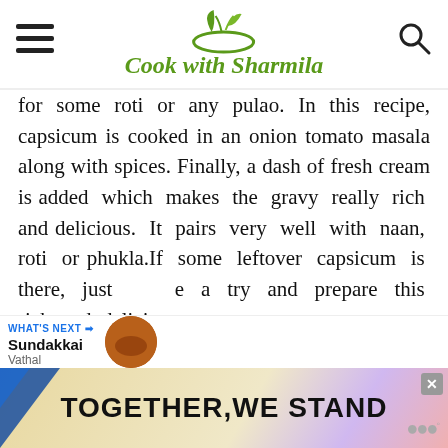Cook with Sharmila
for some roti or any pulao. In this recipe, capsicum is cooked in an onion tomato masala along with spices. Finally, a dash of fresh cream is added which makes the gravy really rich and delicious. It pairs very well with naan, roti or phukla.If some leftover capsicum is there, just give a try and prepare this rich and delicious gravy.
[Figure (other): WHAT'S NEXT section with Sundakkai Vathal thumbnail image]
[Figure (other): Advertisement banner: TOGETHER, WE STAND with colorful shapes]